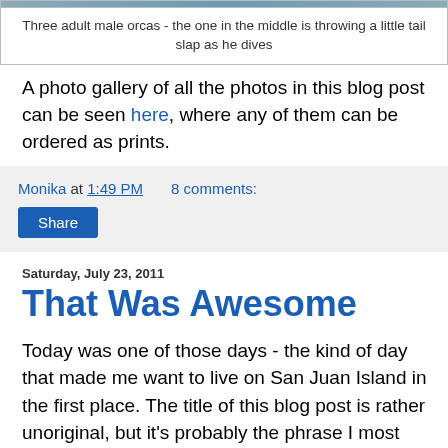[Figure (photo): Partial view of three adult male orcas, cropped at top]
Three adult male orcas - the one in the middle is throwing a little tail slap as he dives
A photo gallery of all the photos in this blog post can be seen here, where any of them can be ordered as prints.
Monika at 1:49 PM   8 comments:
Share
Saturday, July 23, 2011
That Was Awesome
Today was one of those days - the kind of day that made me want to live on San Juan Island in the first place. The title of this blog post is rather unoriginal, but it's probably the phrase I most uttered today, so I thought it was appropriate.
We went out to the westside around noon today with word that some whales were heading down from the north. Just as soon as the boats and some distant blows were coming into